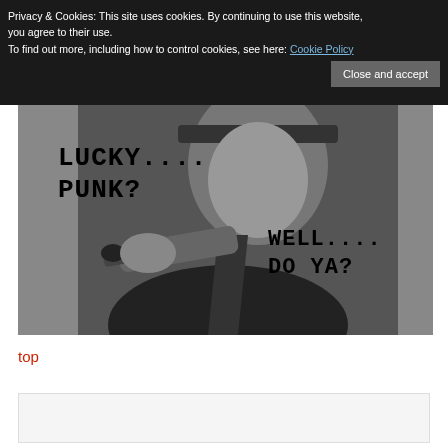Privacy & Cookies: This site uses cookies. By continuing to use this website, you agree to their use.
To find out more, including how to control cookies, see here: Cookie Policy
Close and accept
[Figure (photo): Black and white image of a man in a suit and tie pointing a gun toward the viewer. Text overlay reads 'LUCKY.... PUNK?' on the left side and 'WELL.... DO YA?' on the right side, styled in bold serif font.]
top